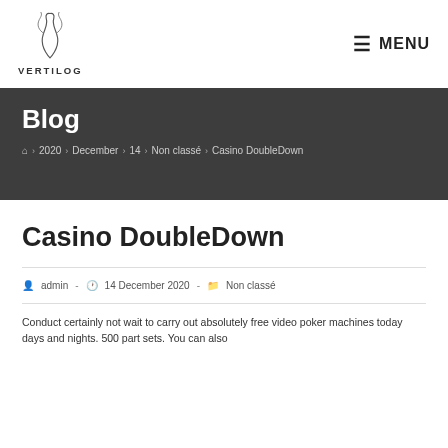VERTILOG — MENU
Blog
Home > 2020 > December > 14 > Non classé > Casino DoubleDown
Casino DoubleDown
admin — 14 December 2020 — Non classé
Conduct certainly not wait to carry out absolutely free video poker machines today days and nights. 500 part sets. You can also